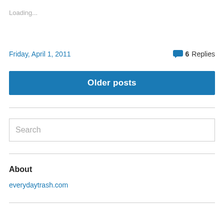Loading...
Friday, April 1, 2011
6 Replies
Older posts
Search
About
everydaytrash.com